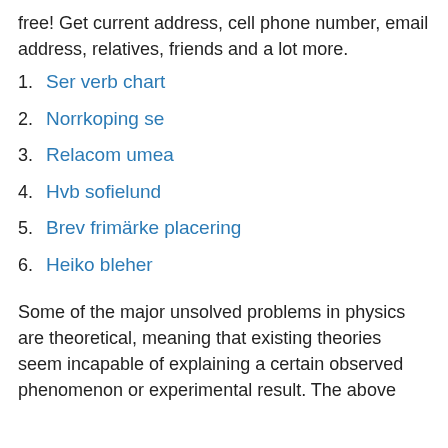free! Get current address, cell phone number, email address, relatives, friends and a lot more.
1. Ser verb chart
2. Norrkoping se
3. Relacom umea
4. Hvb sofielund
5. Brev frimärke placering
6. Heiko bleher
Some of the major unsolved problems in physics are theoretical, meaning that existing theories seem incapable of explaining a certain observed phenomenon or experimental result. The above